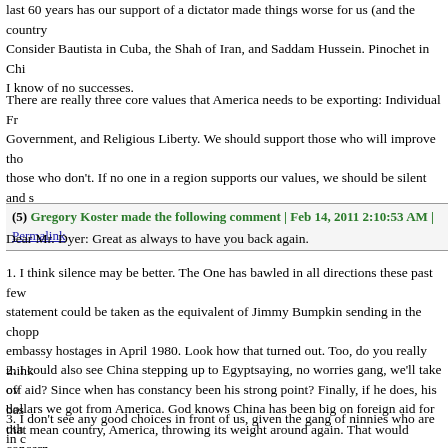last 60 years has our support of a dictator made things worse for us (and the country). Consider Bautista in Cuba, the Shah of Iran, and Saddam Hussein. Pinochet in Chi... I know of no successes.
There are really three core values that America needs to be exporting: Individual Fr... Government, and Religious Liberty. We should support those who will improve tho... those who don't. If no one in a region supports our values, we should be silent and s...
(5) Gregory Koster made the following comment | Feb 14, 2011 2:10:53 AM | Permalink
Dear Mr. Dyer: Great as always to have you back again.
1. I think silence may be better. The One has bawled in all directions these past few... statement could be taken as the equivalent of Jimmy Bumpkin sending in the chopp... embassy hostages in April 1980. Look how that turned out. Too, do you really think... off aid? Since when has constancy been his strong point? Finally, if he does, his bas... that mean country, America, throwing its weight around again. That would concern... American interestss.
2. I could also see China stepping up to Egyptsaying, no worries gang, we'll take ov... dollars we got from America. God knows China has been big on foreign aid for oth...
3. I don't see any good choices in front of us, given the gang of ninnies who are in c... roaring and blasting Israel for being "nervous" just because the Brotherhood is pois...